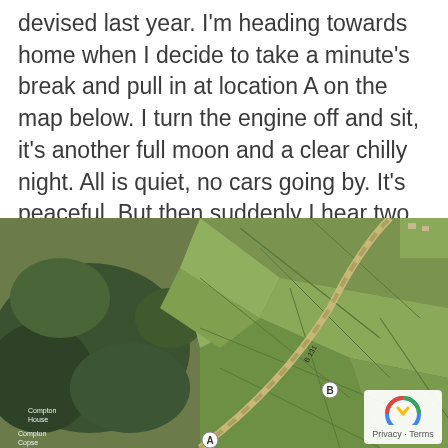devised last year. I'm heading towards home when I decide to take a minute's break and pull in at location A on the map below. I turn the engine off and sit, it's another full moon and a clear chilly night. All is quiet, no cars going by. It's peaceful. But then suddenly I hear two shots coming from the direction of location B.
[Figure (map): Aerial/satellite map view of a rural countryside area with green fields divided by hedgerows and woodland. Location A is marked near the bottom-left, location B is marked in the centre-right of the map. A road runs diagonally through the scene. A Google Maps privacy/terms badge appears in the bottom-right corner.]